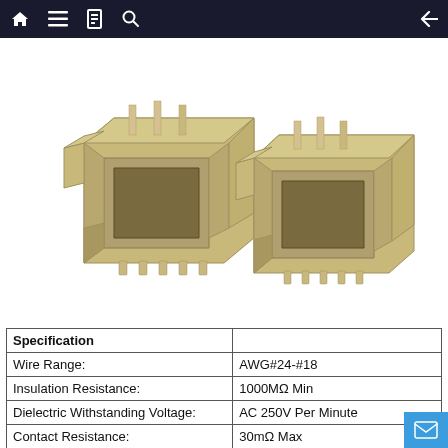Navigation bar with home, menu, book, search icons and back arrow
[Figure (photo): Two beige/cream colored PCB wire-to-board connector housings (SMT type) shown at an angle, with metal terminals visible. The connectors have rectangular housings with locking tabs and multiple SMT solder pins along the bottom.]
| Specification |  |
| --- | --- |
| Wire Range: | AWG#24-#18 |
| Insulation Resistance: | 1000MΩ Min |
| Dielectric Withstanding Voltage: | AC 250V Per Minute |
| Contact Resistance: | 30mΩ Max |